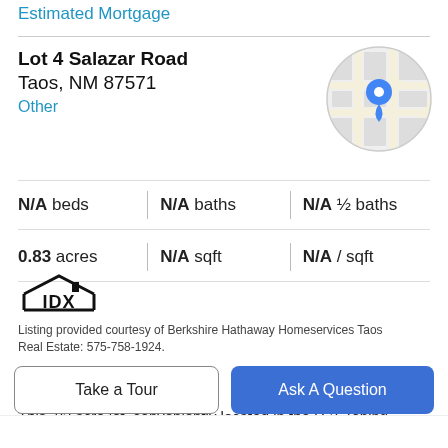Estimated Mortgage
Lot 4 Salazar Road
Taos, NM 87571
Other
[Figure (map): Circular map thumbnail showing a street map with a blue location pin marker]
N/A beds | N/A baths | N/A ½ baths
0.83 acres | N/A sqft | N/A / sqft
[Figure (logo): IDX logo — stylized house outline with IDX text]
Listing provided courtesy of Berkshire Hathaway Homeservices Taos Real Estate: 575-758-1924.
Property Description
This .83 acre lot, conveniently located in the R-2 Zoning